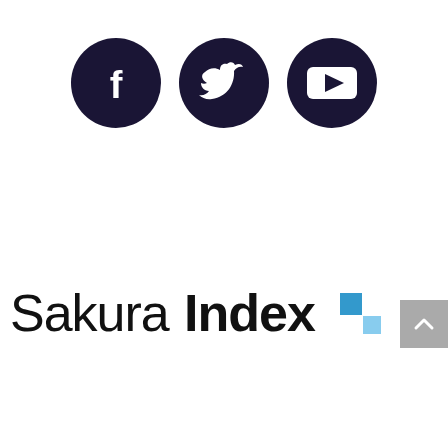[Figure (logo): Three dark navy/purple circular social media icon buttons: Facebook (f), Twitter (bird), YouTube (play button), arranged horizontally]
[Figure (logo): SakuraIndex logo: 'Sakura' in light-weight sans-serif and 'Index' in bold sans-serif, followed by two blue squares (one darker, one lighter) arranged in a 2x2 grid pattern]